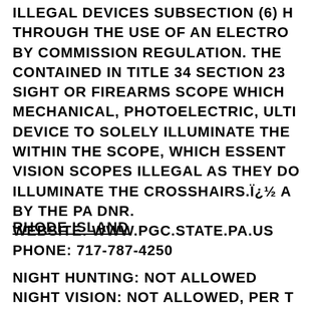ILLEGAL DEVICES SUBSECTION (6) H THROUGH THE USE OF AN ELECTRO BY COMMISSION REGULATION. THE CONTAINED IN TITLE 34 SECTION 23 SIGHT OR FIREARMS SCOPE WHICH MECHANICAL, PHOTOELECTRIC, ULTI DEVICE TO SOLELY ILLUMINATE THE WITHIN THE SCOPE, WHICH ESSENT VISION SCOPES ILLEGAL AS THEY DO ILLUMINATE THE CROSSHAIRS.Ï¿½ A BY THE PA DNR. WEBSITE: WWW.PGC.STATE.PA.US PHONE: 717-787-4250
RHODE ISLAND
NIGHT HUNTING: NOT ALLOWED NIGHT VISION: NOT ALLOWED, PER T